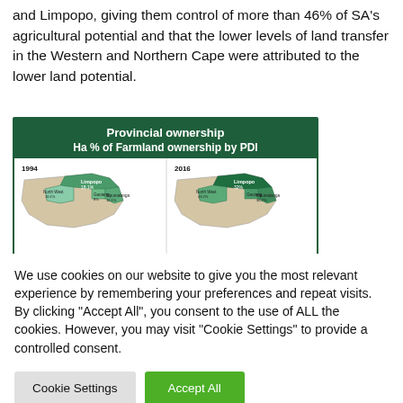and Limpopo, giving them control of more than 46% of SA's agricultural potential and that the lower levels of land transfer in the Western and Northern Cape were attributed to the lower land potential.
[Figure (map): Two maps of South Africa showing provincial farmland ownership by PDI in 1994 and 2016, with percentage labels for Limpopo, Gauteng, Mpumalanga, North West provinces.]
We use cookies on our website to give you the most relevant experience by remembering your preferences and repeat visits. By clicking "Accept All", you consent to the use of ALL the cookies. However, you may visit "Cookie Settings" to provide a controlled consent.